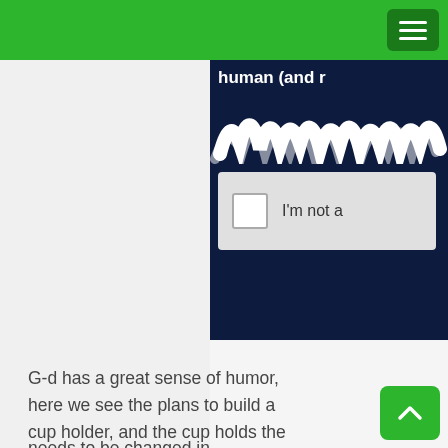[Figure (screenshot): CAPTCHA widget showing a dark navy background with white wavy text reading 'human (and r...' and stylized letters, with a checkbox labeled "I'm not a" on a light grey panel]
G-d has a great sense of humor, here we see the plans to build a cup holder, and the cup holds the spirit "wine." The spirit and wine have always been the synonymous. Spirit like wine changes you. The man needs to be changed in...